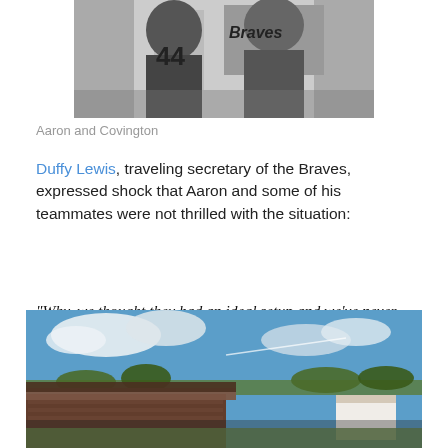[Figure (photo): Black and white photograph of Aaron and Covington in Braves uniforms, cropped at top of page]
Aaron and Covington
Duffy Lewis, traveling secretary of the Braves, expressed shock that Aaron and some of his teammates were not thrilled with the situation:
“Why, we thought they had an ideal setup and we’ve never heard a fuss.  That Mrs. Gibson sets the best table I’ve ever seen.  I’ve eaten there myself.”
[Figure (photo): Color photograph of a baseball stadium with crowds, trees visible in background, blue sky with clouds]